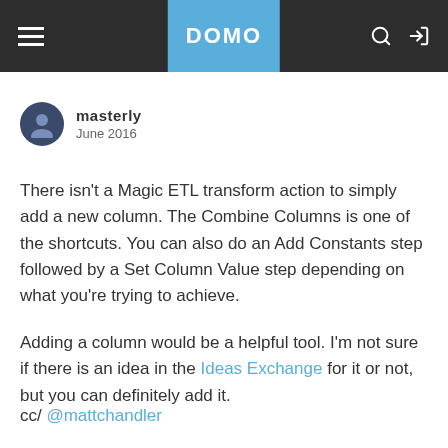DOMO navigation bar
masterly
June 2016
There isn't a Magic ETL transform action to simply add a new column. The Combine Columns is one of the shortcuts. You can also do an Add Constants step followed by a Set Column Value step depending on what you're trying to achieve.
Adding a column would be a helpful tool. I'm not sure if there is an idea in the Ideas Exchange for it or not, but you can definitely add it.
cc/ @mattchandler